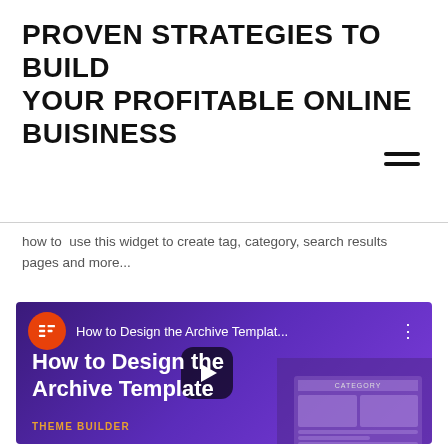PROVEN STRATEGIES TO BUILD YOUR PROFITABLE ONLINE BUISINESS
[Figure (other): Hamburger menu icon (three horizontal lines)]
how to  use this widget to create tag, category, search results pages and more...
[Figure (screenshot): YouTube-style video thumbnail showing 'How to Design the Archive Templat...' with Elementor icon, play button, and 'How to Design the Archive Template' title text. THEME BUILDER label at bottom.]